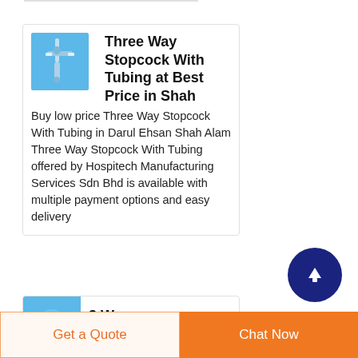[Figure (photo): Product thumbnail image of a Three Way Stopcock With Tubing on a blue background]
Three Way Stopcock With Tubing at Best Price in Shah
Buy low price Three Way Stopcock With Tubing in Darul Ehsan Shah Alam Three Way Stopcock With Tubing offered by Hospitech Manufacturing Services Sdn Bhd is available with multiple payment options and easy delivery
[Figure (photo): Product thumbnail image of a 3 Way item on blue background]
3 Way
[Figure (other): Dark navy circular button with upward arrow icon (scroll to top / back to top button)]
Get a Quote
Chat Now